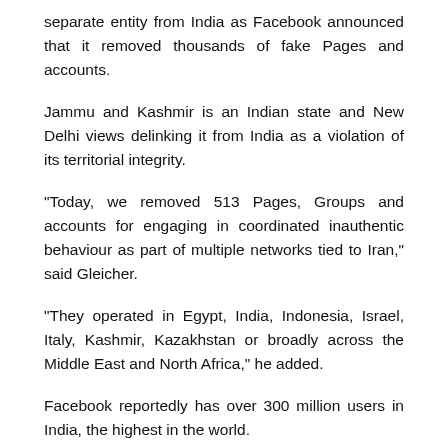separate entity from India as Facebook announced that it removed thousands of fake Pages and accounts.
Jammu and Kashmir is an Indian state and New Delhi views delinking it from India as a violation of its territorial integrity.
"Today, we removed 513 Pages, Groups and accounts for engaging in coordinated inauthentic behaviour as part of multiple networks tied to Iran," said Gleicher.
"They operated in Egypt, India, Indonesia, Israel, Italy, Kashmir, Kazakhstan or broadly across the Middle East and North Africa," he added.
Facebook reportedly has over 300 million users in India, the highest in the world.
Some of the axed Pages and accounts posted news stories on Indian politics as well as on the tension between India and